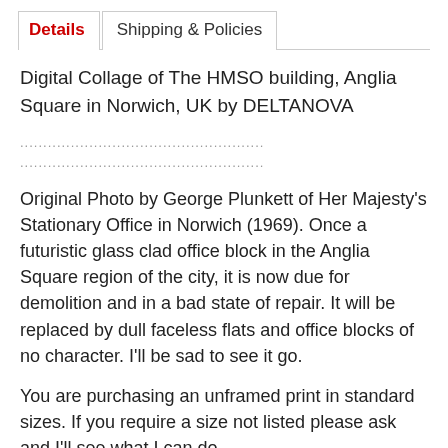Details | Shipping & Policies
Digital Collage of The HMSO building, Anglia Square in Norwich, UK by DELTANOVA
.....................................................
.....................................................
Original Photo by George Plunkett of Her Majesty's Stationary Office in Norwich (1969). Once a futuristic glass clad office block in the Anglia Square region of the city, it is now due for demolition and in a bad state of repair. It will be replaced by dull faceless flats and office blocks of no character. I'll be sad to see it go.
You are purchasing an unframed print in standard sizes. If you require a size not listed please ask and I'll see what I can do.